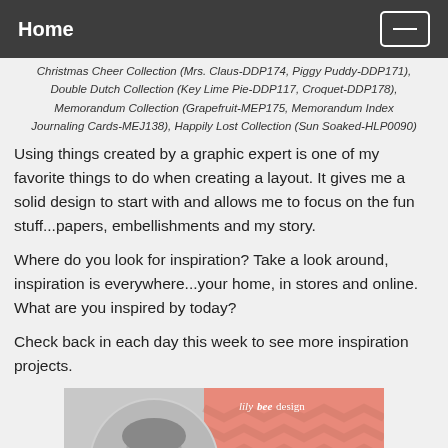Home
Christmas Cheer Collection (Mrs. Claus-DDP174, Piggy Puddy-DDP171), Double Dutch Collection (Key Lime Pie-DDP117, Croquet-DDP178), Memorandum Collection (Grapefruit-MEP175, Memorandum Index Journaling Cards-MEJ138), Happily Lost Collection (Sun Soaked-HLP0090)
Using things created by a graphic expert is one of my favorite things to do when creating a layout. It gives me a solid design to start with and allows me to focus on the fun stuff...papers, embellishments and my story.
Where do you look for inspiration? Take a look around, inspiration is everywhere...your home, in stores and online. What are you inspired by today?
Check back in each day this week to see more inspiration projects.
[Figure (photo): Author profile image with lily bee design branding. Black and white circular photo of a woman named Diane Payne on a coral/salmon colored background with the lily bee design logo text.]